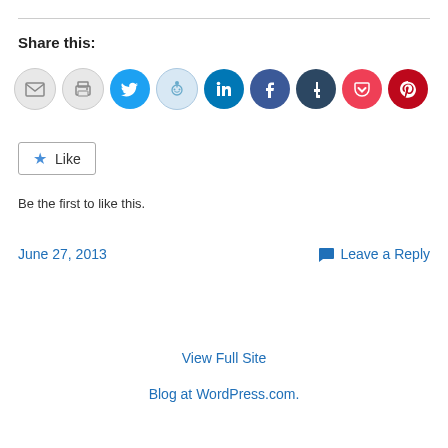Share this:
[Figure (infographic): Row of social sharing icon buttons: email, print, Twitter, Reddit, LinkedIn, Facebook, Tumblr, Pocket, Pinterest]
Like  Be the first to like this.
June 27, 2013
Leave a Reply
View Full Site
Blog at WordPress.com.